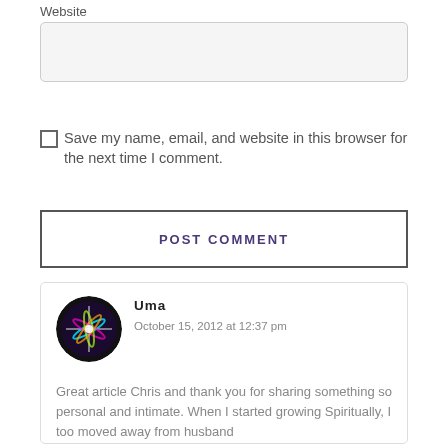Website
Save my name, email, and website in this browser for the next time I comment.
POST COMMENT
Uma
October 15, 2012 at 12:37 pm
Great article Chris and thank you for sharing something so personal and intimate. When I started growing Spiritually, I too moved away from husband